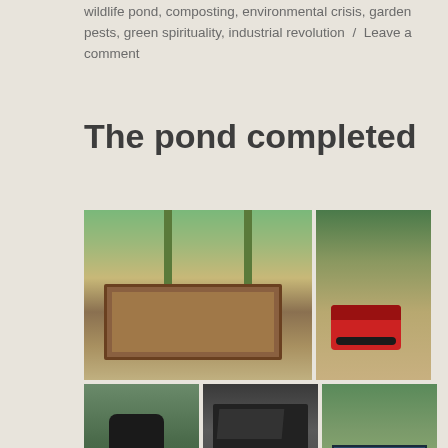wildlife pond, composting, environmental crisis, garden pests, green spirituality, industrial revolution / Leave a comment
The pond completed
[Figure (photo): Grid of six garden photographs showing pond construction stages: raised wooden beds with poles, a red generator on mulch path, a water butt among plants, a black pond liner being laid, and a completed wildlife pond with surrounding vegetation.]